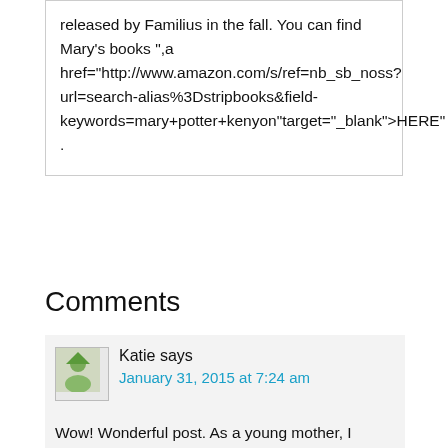released by Familius in the fall. You can find Mary's books ",a href="http://www.amazon.com/s/ref=nb_sb_noss?url=search-alias%3Dstripbooks&field-keywords=mary+potter+kenyon"target="_blank">HERE" .
Comments
Katie says
January 31, 2015 at 7:24 am
Wow! Wonderful post. As a young mother, I appreciate you sharing this experience. Setting boundaries is so important to prevent burnout,